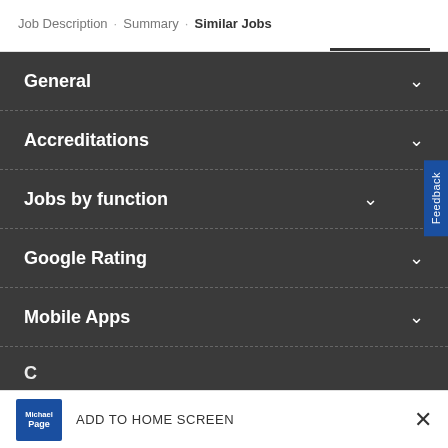Job Description · Summary · Similar Jobs
General
Accreditations
Jobs by function
Google Rating
Mobile Apps
ADD TO HOME SCREEN